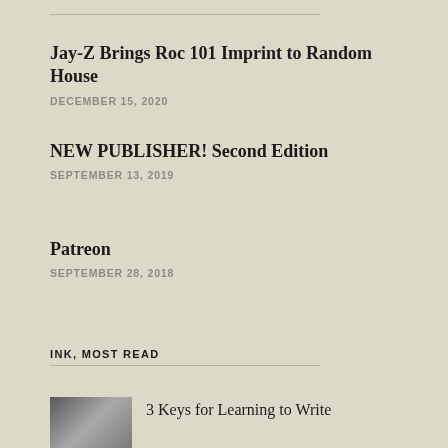Jay-Z Brings Roc 101 Imprint to Random House
DECEMBER 15, 2020
NEW PUBLISHER! Second Edition
SEPTEMBER 13, 2019
Patreon
SEPTEMBER 28, 2018
INK, MOST READ
3 Keys for Learning to Write